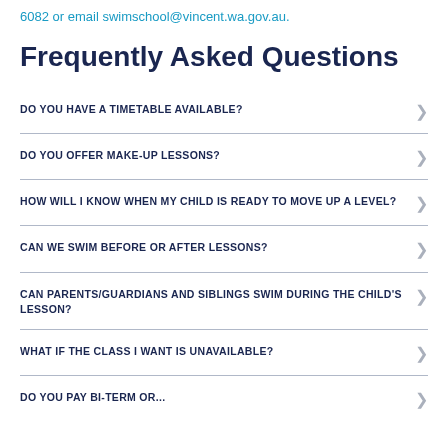6082 or email swimschool@vincent.wa.gov.au.
Frequently Asked Questions
DO YOU HAVE A TIMETABLE AVAILABLE?
DO YOU OFFER MAKE-UP LESSONS?
HOW WILL I KNOW WHEN MY CHILD IS READY TO MOVE UP A LEVEL?
CAN WE SWIM BEFORE OR AFTER LESSONS?
CAN PARENTS/GUARDIANS AND SIBLINGS SWIM DURING THE CHILD'S LESSON?
WHAT IF THE CLASS I WANT IS UNAVAILABLE?
DO YOU FULL...